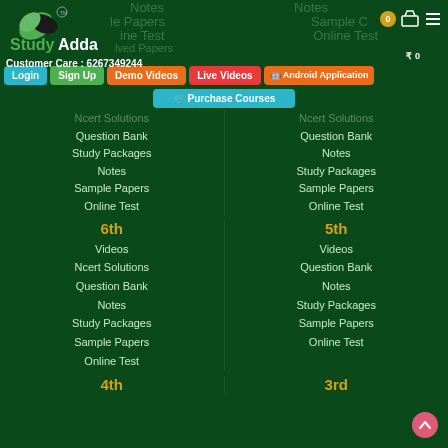[Figure (logo): StudyAdda logo with leaf/feather icon]
Customer Care : 6267349244
Login | Sign Up | Demo Videos | Live Videos | Android Application
Purchase Courses
6th
Videos
Ncert Solutions
Question Bank
Notes
Sample Papers
Online Test
5th
Videos
Question Bank
Notes
Study Packages
Sample Papers
Online Test
4th
3rd